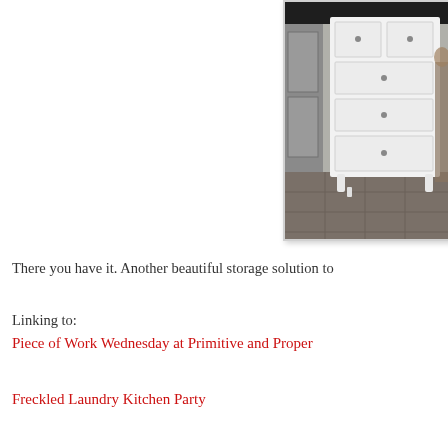[Figure (photo): A white painted dresser with four drawers and decorative curved legs, photographed in a kitchen or laundry room setting with dark countertops and tile floor visible in the background.]
There you have it.  Another beautiful storage solution to
Linking to:
Piece of Work Wednesday at Primitive and Proper
Freckled Laundry Kitchen Party